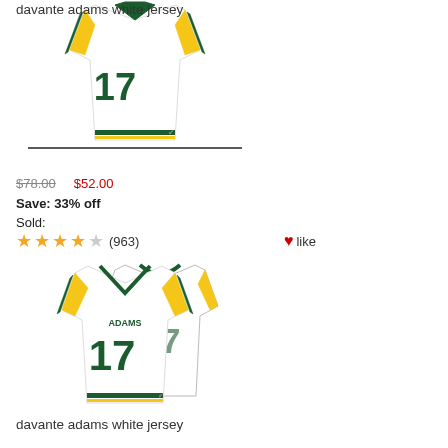[Figure (photo): Davante Adams #17 white Green Bay Packers jersey, men's style, top portion visible]
davante adams white jersey
$78.00  $52.00
Save: 33% off
Sold:
★★★★☆ (963)  ♥like
[Figure (photo): Davante Adams #17 white Green Bay Packers jersey, women's style, two jerseys shown]
davante adams white jersey
$74.00  $50.00
Save: 32% off
Sold:
★★★★★ (886)  ♥like